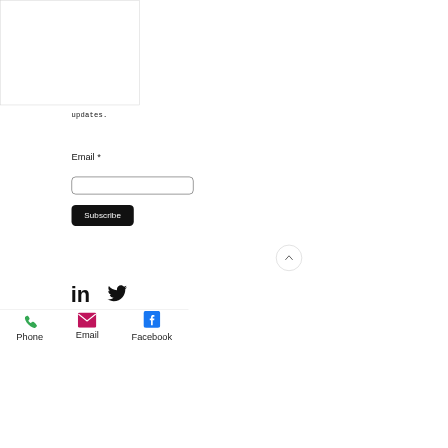[Figure (screenshot): White box/rectangle at top left, possibly a form or content area with border]
updates.
Email *
[Figure (screenshot): Email input field, rounded rectangle border]
[Figure (screenshot): Subscribe button, black rounded rectangle with white text]
[Figure (screenshot): Scroll to top button, circular outline with upward chevron]
[Figure (screenshot): LinkedIn and Twitter social media icons]
[Figure (screenshot): Bottom navigation bar with Phone (green icon), Email (pink icon), Facebook (blue icon)]